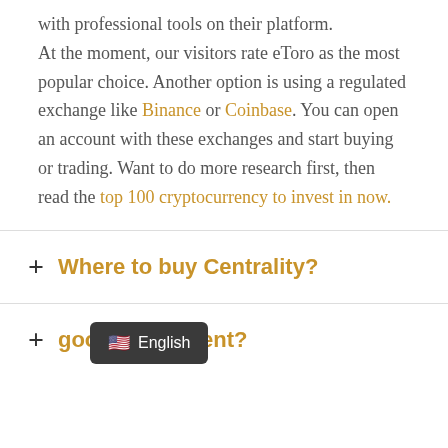with professional tools on their platform.

At the moment, our visitors rate eToro as the most popular choice. Another option is using a regulated exchange like Binance or Coinbase. You can open an account with these exchanges and start buying or trading. Want to do more research first, then read the top 100 cryptocurrency to invest in now.
+ Where to buy Centrality?
+ [Centrality a] good investment?